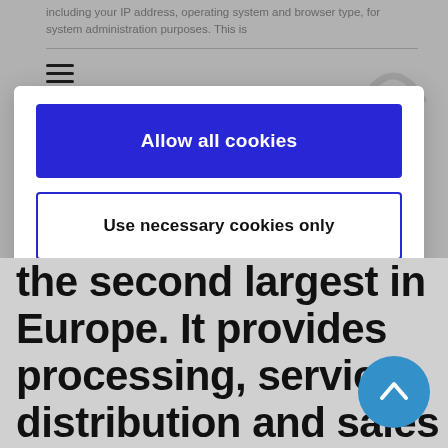including your IP address, operating system and browser type, for system administration purposes. This is
[Figure (screenshot): Cookie consent modal with 'Allow all cookies' blue button and 'Use necessary cookies only' outlined button, powered by Cookiebot by Usercentrics]
the second largest in Europe. It provides processing, service, distribution and sales support for customers